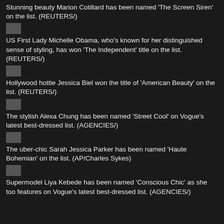Stunning beauty Marion Cotillard has been named 'The Screen Siren' on the list. (REUTERS/)
[Figure (photo): Small gray image thumbnail placeholder]
US First Lady Michelle Obama, who's known for her distinguished sense of styling, has won 'The Independent' title on the list. (REUTERS/)
[Figure (photo): Small gray image thumbnail placeholder]
Hollywood hottie Jessica Biel won the title of 'American Beauty' on the list. (REUTERS/)
[Figure (photo): Small gray image thumbnail placeholder]
The stylish Alexa Chung has been named 'Street Cool' on Vogue's latest best-dressed list. (AGENCIES/)
[Figure (photo): Small gray image thumbnail placeholder]
The uber-chic Sarah Jessica Parker has been named 'Haute Bohemian' on the list. (AP/Charles Sykes)
[Figure (photo): Small gray image thumbnail placeholder]
Supermodel Liya Kebede has been named 'Conscious Chic' as she too features on Vogue's latest best-dressed list. (AGENCIES/)